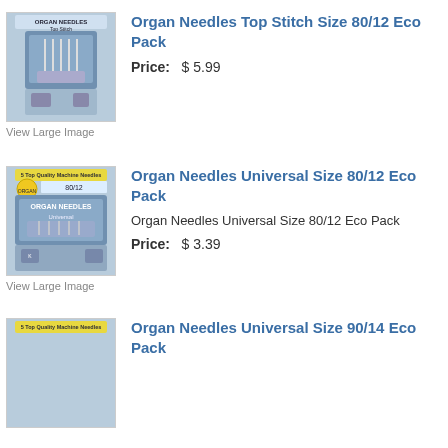[Figure (photo): Organ Needles Top Stitch product package image]
Organ Needles Top Stitch Size 80/12 Eco Pack
Price: $ 5.99
View Large Image
[Figure (photo): Organ Needles Universal Size 80/12 Eco Pack product package image]
Organ Needles Universal Size 80/12 Eco Pack
Organ Needles Universal Size 80/12 Eco Pack
Price: $ 3.39
View Large Image
Organ Needles Universal Size 90/14 Eco Pack